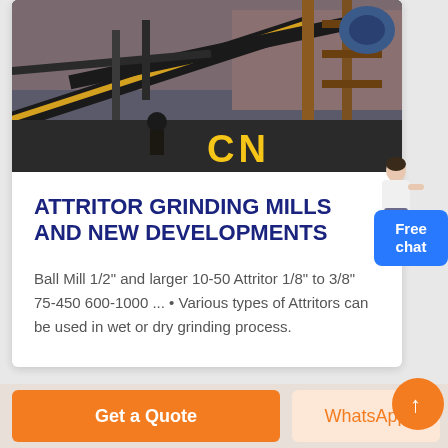[Figure (photo): Industrial mining/grinding mill facility with conveyor belts, machinery structures, and a worker visible. Yellow 'CN' text overlay in the lower center of the image.]
ATTRITOR GRINDING MILLS AND NEW DEVELOPMENTS
Ball Mill 1/2" and larger 10-50 Attritor 1/8" to 3/8" 75-450 600-1000 ... • Various types of Attritors can be used in wet or dry grinding process.
Free chat
Get a Quote
WhatsApp